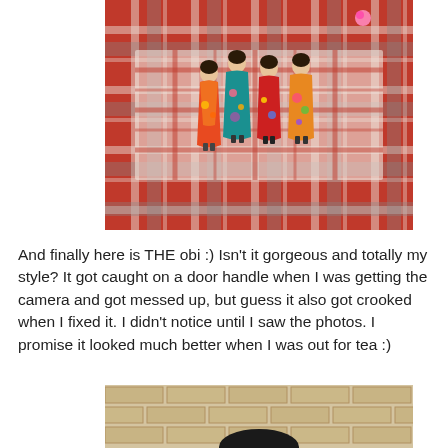[Figure (photo): A close-up photo of a plaid fabric obi (Japanese sash/belt) with colorful appliqué figures of women in kimonos sewn onto it. The background fabric is red and gray plaid. The figures are decorative and colorful.]
And finally here is THE obi :) Isn't it gorgeous and totally my style? It got caught on a door handle when I was getting the camera and got messed up, but guess it also got crooked when I fixed it. I didn't notice until I saw the photos. I promise it looked much better when I was out for tea :)
[Figure (photo): A partial photo showing a person wearing the obi against a brick wall background. Only the top portion of the person is visible.]